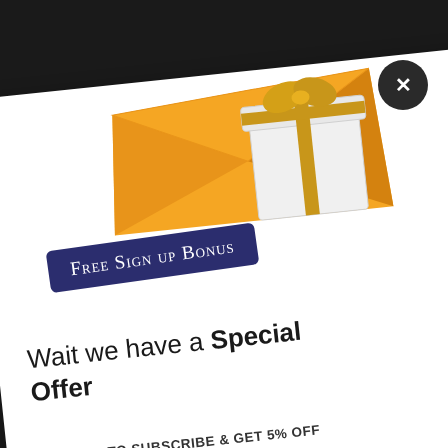[Figure (illustration): Orange envelope with a white gift box with gold ribbon, floating above a white promotional card]
Free Sign Up Bonus
Wait we have a Special Offer
SIGN-UP TO SUBSCRIBE & GET 5% OFF ON YOUR FIRST PURCHASE
Email Address Here